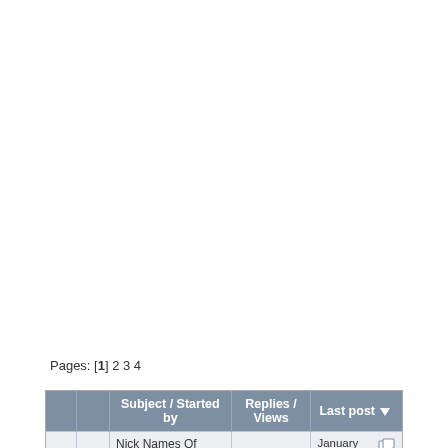Pages: [1] 2 3 4
|  |  | Subject / Started by | Replies / Views | Last post |
| --- | --- | --- | --- | --- |
|  |  | Nick Names Of Places - صفحات مميزة للمدن و الاماكن بدل من اسمها الرسمي | 23 Replies
13,371 Views | January 30, 2022, 09:50:51 AM |